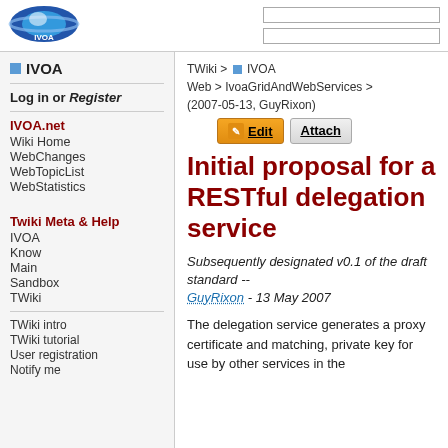[Figure (logo): IVOA logo - blue oval with Saturn-like planet and text IVOA]
IVOA
Log in or Register
IVOA.net
Wiki Home
WebChanges
WebTopicList
WebStatistics
Twiki Meta & Help
IVOA
Know
Main
Sandbox
TWiki
TWiki intro
TWiki tutorial
User registration
Notify me
TWiki > IVOA Web > IvoaGridAndWebServices > (2007-05-13, GuyRixon)
Initial proposal for a RESTful delegation service
Subsequently designated v0.1 of the draft standard -- GuyRixon - 13 May 2007
The delegation service generates a proxy certificate and matching, private key for use by other services in the